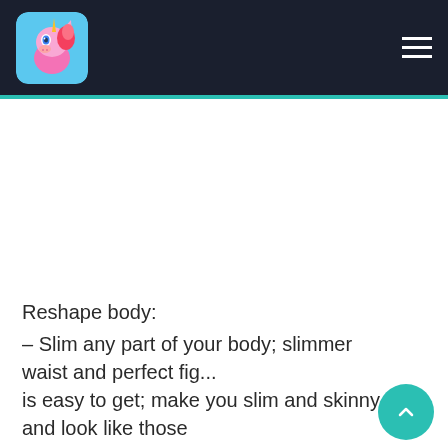[App logo: pink cartoon pony character] [Hamburger menu icon]
Reshape body:
– Slim any part of your body; slimmer waist and perfect fig... is easy to get; make you slim and skinny and look like those